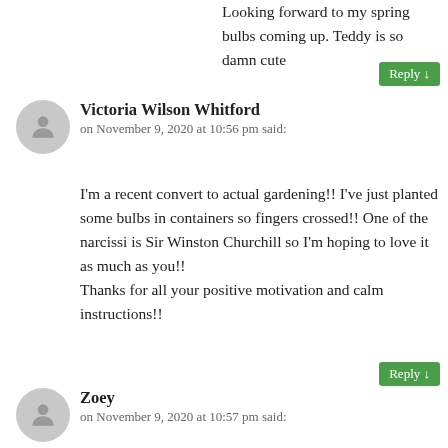Looking forward to my spring bulbs coming up. Teddy is so damn cute
Reply
Victoria Wilson Whitford
on November 9, 2020 at 10:56 pm said:
I'm a recent convert to actual gardening!! I've just planted some bulbs in containers so fingers crossed!! One of the narcissi is Sir Winston Churchill so I'm hoping to love it as much as you!!
Thanks for all your positive motivation and calm instructions!!
Reply
Zoey
on November 9, 2020 at 10:57 pm said:
As I'm new to allotments I'm looking forward to growing everything! But particularly excited about runner beans and